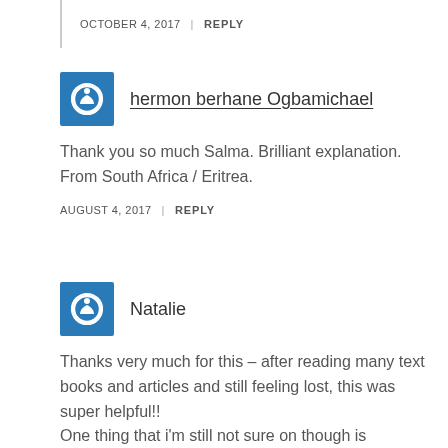OCTOBER 4, 2017 | REPLY
hermon berhane Ogbamichael
Thank you so much Salma. Brilliant explanation. From South Africa / Eritrea.
AUGUST 4, 2017 | REPLY
Natalie
Thanks very much for this – after reading many text books and articles and still feeling lost, this was super helpful!! One thing that i'm still not sure on though is